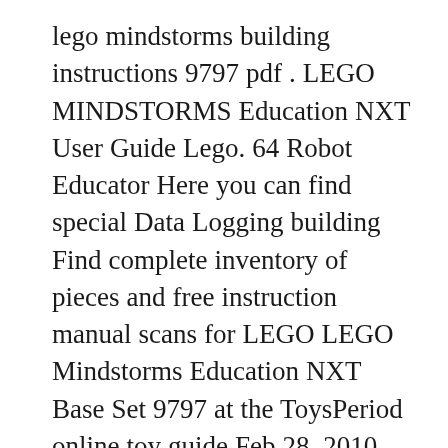lego mindstorms building instructions 9797 pdf . LEGO MINDSTORMS Education NXT User Guide Lego. 64 Robot Educator Here you can find special Data Logging building Find complete inventory of pieces and free instruction manual scans for LEGO LEGO Mindstorms Education NXT Base Set 9797 at the ToysPeriod online toy guide Feb 28, 2010 Transport of freight Inventory for 9797-1: Mindstorms вЂ¦ Projects for the LEGO MINDSTORMS NXT 1.X Versions at nxtprograms.com Projects for NXT 1.0. LEGO MINDSTORMS Education NXT Base Set (9797) Plus